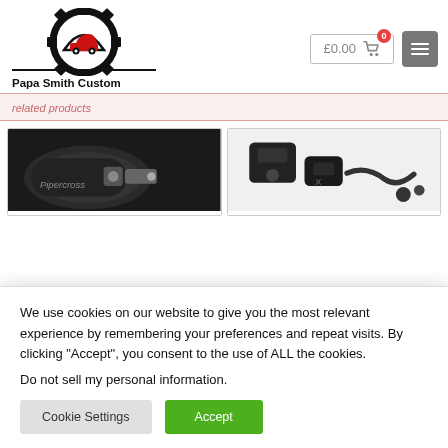[Figure (logo): Papa Smith Custom logo with gear and car silhouette, red and black]
£0.00  0
[Figure (other): Grey hamburger menu button]
related products
[Figure (photo): Pipercross air intake component in black]
[Figure (photo): Black automotive intake parts set]
We use cookies on our website to give you the most relevant experience by remembering your preferences and repeat visits. By clicking “Accept”, you consent to the use of ALL the cookies.
Do not sell my personal information.
Cookie Settings
Accept